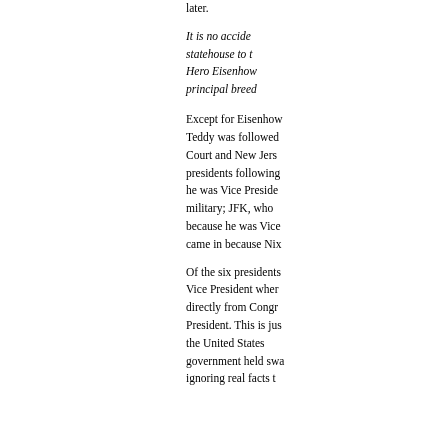later.
It is no accide statehouse to t Hero Eisenhow principal breed
Except for Eisenhow Teddy was followed Court and New Jers presidents following he was Vice Preside military; JFK, who because he was Vice came in because Nix
Of the six presidents Vice President wher directly from Congr President. This is jus the United States government held swa ignoring real facts t